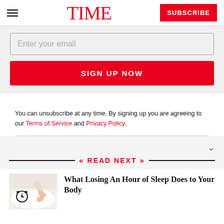TIME | SUBSCRIBE
Enter your email
SIGN UP NOW
You can unsubscribe at any time. By signing up you are agreeing to our Terms of Service and Privacy Policy.
READ NEXT
[Figure (photo): Hand reaching for alarm clock on pillow]
What Losing An Hour of Sleep Does to Your Body